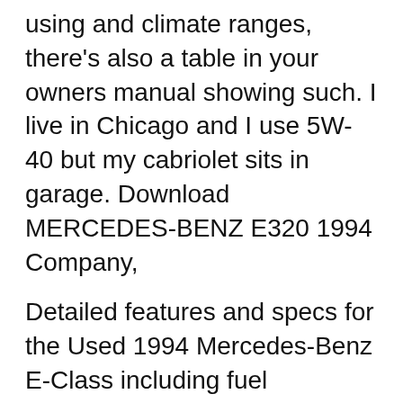using and climate ranges, there's also a table in your owners manual showing such. I live in Chicago and I use 5W-40 but my cabriolet sits in garage. Download MERCEDES-BENZ E320 1994 Company,
Detailed features and specs for the Used 1994 Mercedes-Benz E-Class including fuel economy, transmission, warranty, engine type, cylinders, drivetrain and more. Read reviews, browse our car 06/01/2017B B· If any one has an owners manual and pamphlets for a 1994 e320 and is willing to part with it, lemme know. Thanks I have the case and an atlas.. Would like...